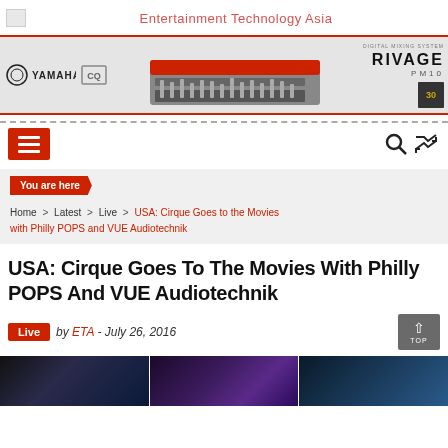Entertainment Technology Asia
[Figure (photo): Yamaha RIVAGE PM10 digital mixing system advertisement banner showing large mixing consoles]
You are here
Home > Latest > Live > USA: Cirque Goes to the Movies with Philly POPS and VUE Audiotechnik
USA: Cirque Goes To The Movies With Philly POPS And VUE Audiotechnik
Live  by ETA - July 26, 2016
[Figure (photo): Three photo panels showing Cirque performance with stage lighting effects in dark blue and purple tones]